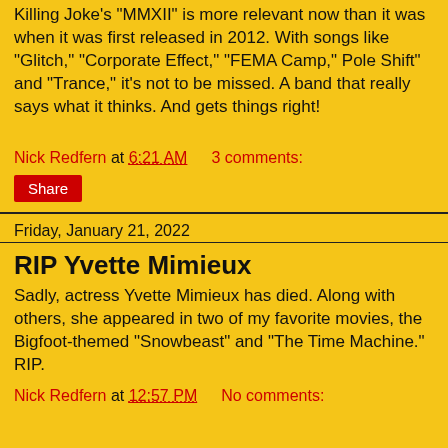Killing Joke's "MMXII" is more relevant now than it was when it was first released in 2012. With songs like "Glitch," "Corporate Effect," "FEMA Camp," Pole Shift" and "Trance," it's not to be missed. A band that really says what it thinks. And gets things right!
Nick Redfern at 6:21 AM    3 comments:
Share
Friday, January 21, 2022
RIP Yvette Mimieux
Sadly, actress Yvette Mimieux has died. Along with others, she appeared in two of my favorite movies, the Bigfoot-themed "Snowbeast" and "The Time Machine." RIP.
Nick Redfern at 12:57 PM    No comments: